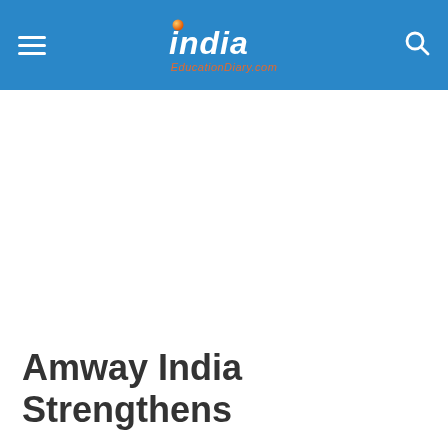India EducationDiary.com
Amway India Strengthens